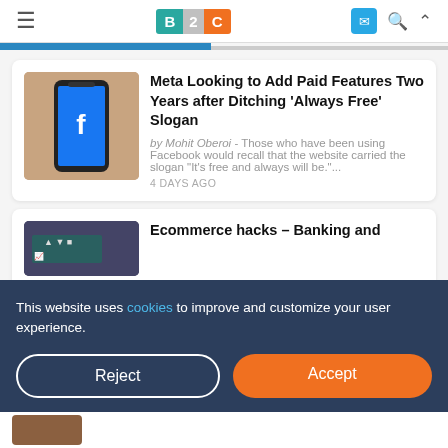B2C - Business to Community website header
Meta Looking to Add Paid Features Two Years after Ditching ‘Always Free’ Slogan
by Mohit Oberoi - Those who have been using Facebook would recall that the website carried the slogan "It's free and always will be."...
4 DAYS AGO
Ecommerce hacks – Banking and
This website uses cookies to improve and customize your user experience.
Reject
Accept